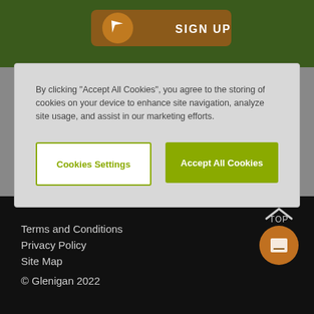[Figure (screenshot): Green header background with orange/brown Sign Up button and compass icon]
By clicking "Accept All Cookies", you agree to the storing of cookies on your device to enhance site navigation, analyze site usage, and assist in our marketing efforts.
Cookies Settings
Accept All Cookies
[Figure (logo): Results logo with teal/dark arrow chevron mark on gray background]
Terms and Conditions
Privacy Policy
Site Map
© Glenigan 2022